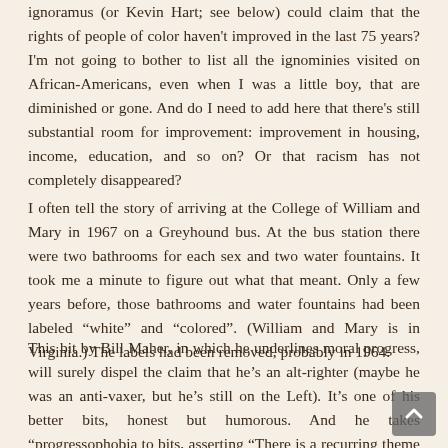ignoramus (or Kevin Hart; see below) could claim that the rights of people of color haven't improved in the last 75 years? I'm not going to bother to list all the ignominies visited on African-Americans, even when I was a little boy, that are diminished or gone. And do I need to add here that there's still substantial room for improvement: improvement in housing, income, education, and so on? Or that racism has not completely disappeared?
I often tell the story of arriving at the College of William and Mary in 1967 on a Greyhound bus. At the bus station there were two bathrooms for each sex and two water fountains. It took me a minute to figure out what that meant. Only a few years before, those bathrooms and water fountains had been labeled “white” and “colored”. (William and Mary is in Virginia.) The labels had been removed, probably in 1964.
This bit by Bill Maher, in which he underlines moral progress, will surely dispel the claim that he’s an alt-righter (maybe he was an anti-vaxer, but he’s still on the Left). It’s one of his better bits, honest but humorous. And he takes “progressophobia to bits, asserting “There is a recurring theme on the far Left that things...